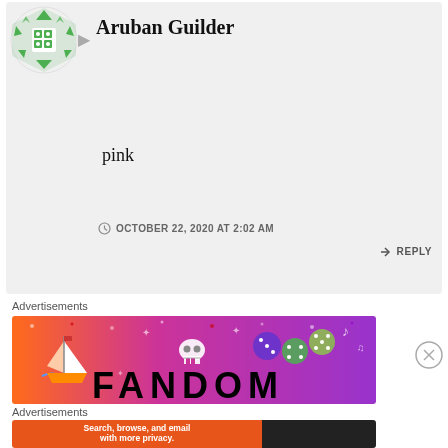[Figure (logo): Green geometric avatar icon with grid and triangular patterns]
Aruban Guilder
pink
OCTOBER 22, 2020 AT 2:02 AM
REPLY
Advertisements
[Figure (illustration): Fandom advertisement banner with gradient background from orange to purple, featuring a sailboat, skull, dice, and FANDOM text]
[Figure (other): Close/dismiss button X circle]
Advertisements
[Figure (screenshot): DuckDuckGo advertisement: Search, browse, and email with more privacy. All in One Free App]